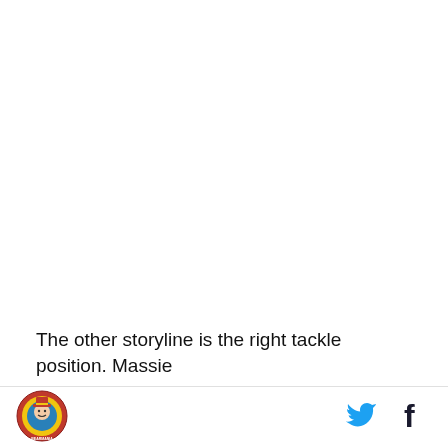The other storyline is the right tackle position. Massie
[Figure (logo): Circular sports team logo with red, yellow, and blue colors featuring a mascot with text around the border]
[Figure (other): Twitter bird icon in cyan/blue]
[Figure (other): Facebook 'f' icon in dark blue/black]